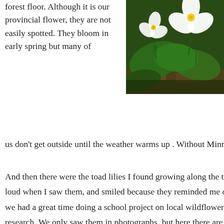forest floor. Although it is our provincial flower, they are not easily spotted. They bloom in early spring but many of us don't get outside until the weather warms up . Without Minni
[Figure (photo): Close-up photograph of white trillium flowers with yellow centres growing among large green leaves on a forest floor with brown leaf litter visible.]
And then there were the toad lilies I found growing along the tra loud when I saw them, and smiled because they reminded me o we had a great time doing a school project on local wildflowers research. We only saw them in photographs, but here there are g Minnie I would have missed those, too.
Privacy & Cookies: This site uses cookies. By continuing to use this website, you agree to their use.
To find out more, including how to control cookies, see here: Cookie Policy
Close and accept